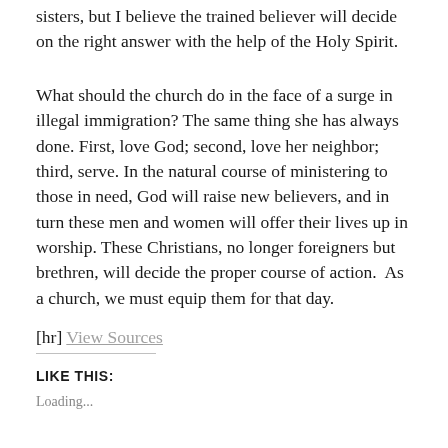have the right to answer that question for my brothers and sisters, but I believe the trained believer will decide on the right answer with the help of the Holy Spirit.
What should the church do in the face of a surge in illegal immigration? The same thing she has always done. First, love God; second, love her neighbor; third, serve. In the natural course of ministering to those in need, God will raise new believers, and in turn these men and women will offer their lives up in worship. These Christians, no longer foreigners but brethren, will decide the proper course of action.  As a church, we must equip them for that day.
[hr] View Sources
LIKE THIS:
Loading...